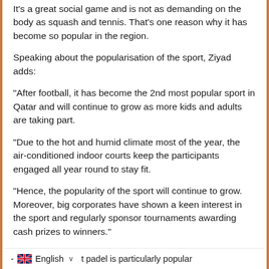It's a great social game and is not as demanding on the body as squash and tennis. That's one reason why it has become so popular in the region.
Speaking about the popularisation of the sport, Ziyad adds:
"After football, it has become the 2nd most popular sport in Qatar and will continue to grow as more kids and adults are taking part.
"Due to the hot and humid climate most of the year, the air-conditioned indoor courts keep the participants engaged all year round to stay fit.
"Hence, the popularity of the sport will continue to grow. Moreover, big corporates have shown a keen interest in the sport and regularly sponsor tournaments awarding cash prizes to winners."
- English ∨  t padel is particularly popular